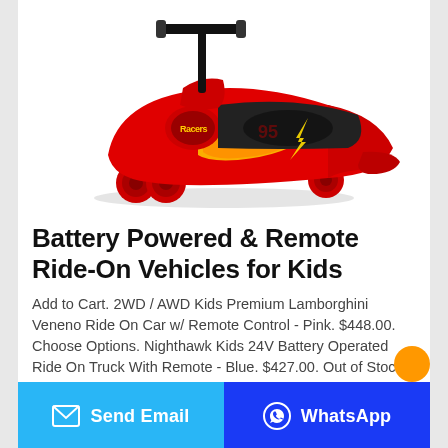[Figure (photo): A red ride-on toy car (swing car / plasma car) with a black T-bar steering handle, black seat platform, red body with Lightning McQueen / Racers branding, four red wheels. Product photo on white background.]
Battery Powered & Remote Ride-On Vehicles for Kids
Add to Cart. 2WD / AWD Kids Premium Lamborghini Veneno Ride On Car w/ Remote Control - Pink. $448.00. Choose Options. Nighthawk Kids 24V Battery Operated Ride On Truck With Remote - Blue. $427.00. Out of Stock.